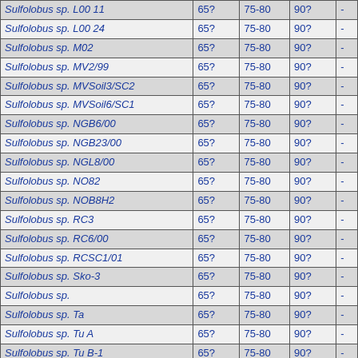| Sulfolobus sp. L00 11 | 65? | 75-80 | 90? | - |
| Sulfolobus sp. L00 24 | 65? | 75-80 | 90? | - |
| Sulfolobus sp. M02 | 65? | 75-80 | 90? | - |
| Sulfolobus sp. MV2/99 | 65? | 75-80 | 90? | - |
| Sulfolobus sp. MVSoil3/SC2 | 65? | 75-80 | 90? | - |
| Sulfolobus sp. MVSoil6/SC1 | 65? | 75-80 | 90? | - |
| Sulfolobus sp. NGB6/00 | 65? | 75-80 | 90? | - |
| Sulfolobus sp. NGB23/00 | 65? | 75-80 | 90? | - |
| Sulfolobus sp. NGL8/00 | 65? | 75-80 | 90? | - |
| Sulfolobus sp. NO82 | 65? | 75-80 | 90? | - |
| Sulfolobus sp. NOB8H2 | 65? | 75-80 | 90? | - |
| Sulfolobus sp. RC3 | 65? | 75-80 | 90? | - |
| Sulfolobus sp. RC6/00 | 65? | 75-80 | 90? | - |
| Sulfolobus sp. RCSC1/01 | 65? | 75-80 | 90? | - |
| Sulfolobus sp. Sko-3 | 65? | 75-80 | 90? | - |
| Sulfolobus sp. | 65? | 75-80 | 90? | - |
| Sulfolobus sp. Ta | 65? | 75-80 | 90? | - |
| Sulfolobus sp. Tu A | 65? | 75-80 | 90? | - |
| Sulfolobus sp. Tu B-1 | 65? | 75-80 | 90? | - |